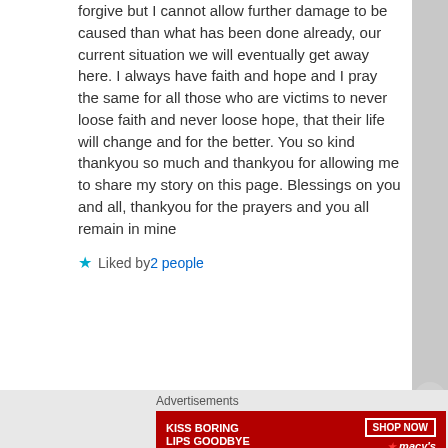forgive but I cannot allow further damage to be caused than what has been done already, our current situation we will eventually get away here. I always have faith and hope and I pray the same for all those who are victims to never loose faith and never loose hope, that their life will change and for the better. You so kind thankyou so much and thankyou for allowing me to share my story on this page. Blessings on you and all, thankyou for the prayers and you all remain in mine
Liked by 2 people
Advertisements
[Figure (other): Macy's advertisement banner with red background showing 'KISS BORING LIPS GOODBYE' text and 'SHOP NOW' button with Macy's star logo]